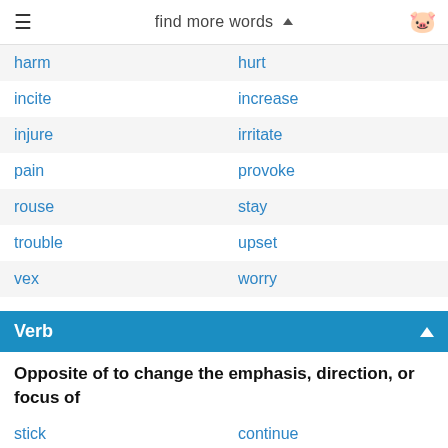find more words
| harm | hurt |
| incite | increase |
| injure | irritate |
| pain | provoke |
| rouse | stay |
| trouble | upset |
| vex | worry |
Verb
Opposite of to change the emphasis, direction, or focus of
| stick | continue |
| stay | keep |
| persevere | carry on |